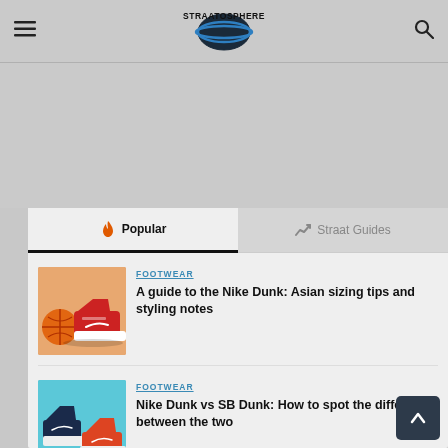STRAATOSPHERE
[Figure (screenshot): Advertisement / empty grey area]
Popular
Straat Guides
[Figure (illustration): Nike Dunk sneaker with basketball illustration]
FOOTWEAR
A guide to the Nike Dunk: Asian sizing tips and styling notes
[Figure (illustration): Nike Dunk vs SB Dunk sneaker illustration]
FOOTWEAR
Nike Dunk vs SB Dunk: How to spot the difference between the two